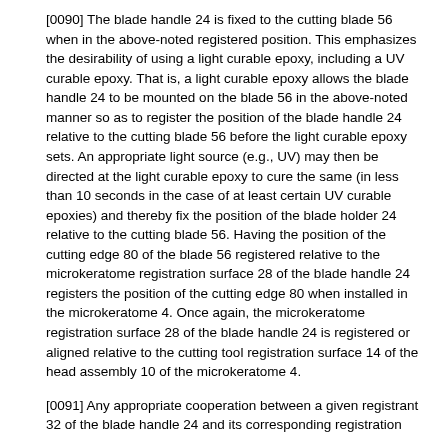[0090] The blade handle 24 is fixed to the cutting blade 56 when in the above-noted registered position. This emphasizes the desirability of using a light curable epoxy, including a UV curable epoxy. That is, a light curable epoxy allows the blade handle 24 to be mounted on the blade 56 in the above-noted manner so as to register the position of the blade handle 24 relative to the cutting blade 56 before the light curable epoxy sets. An appropriate light source (e.g., UV) may then be directed at the light curable epoxy to cure the same (in less than 10 seconds in the case of at least certain UV curable epoxies) and thereby fix the position of the blade holder 24 relative to the cutting blade 56. Having the position of the cutting edge 80 of the blade 56 registered relative to the microkeratome registration surface 28 of the blade handle 24 registers the position of the cutting edge 80 when installed in the microkeratome 4. Once again, the microkeratome registration surface 28 of the blade handle 24 is registered or aligned relative to the cutting tool registration surface 14 of the head assembly 10 of the microkeratome 4.
[0091] Any appropriate cooperation between a given registrant 32 of the blade handle 24 and its corresponding registration surface 94 of the cutting blade 56 may be utilized that provides the desired registration or alignment of the cutting edge 80 of the cutting blade 56 relative to the microkeratome registration surface 28 of the blade handle 24 in the longitudinal or fore-aft dimension. In one embodiment, the contact between a registrant 32 and its